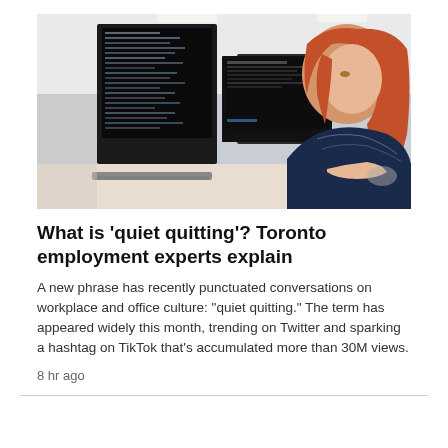[Figure (photo): A red-haired woman sitting at a desk with multiple computer monitors displaying code, in an office environment with desk items visible.]
What is 'quiet quitting'? Toronto employment experts explain
A new phrase has recently punctuated conversations on workplace and office culture: "quiet quitting." The term has appeared widely this month, trending on Twitter and sparking a hashtag on TikTok that's accumulated more than 30M views.
8 hr ago